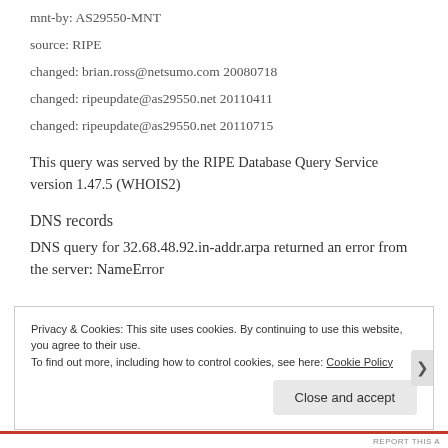mnt-by: AS29550-MNT
source: RIPE
changed: brian.ross@netsumo.com 20080718
changed: ripeupdate@as29550.net 20110411
changed: ripeupdate@as29550.net 20110715
This query was served by the RIPE Database Query Service version 1.47.5 (WHOIS2)
DNS records
DNS query for 32.68.48.92.in-addr.arpa returned an error from the server: NameError
Privacy & Cookies: This site uses cookies. By continuing to use this website, you agree to their use. To find out more, including how to control cookies, see here: Cookie Policy
Close and accept